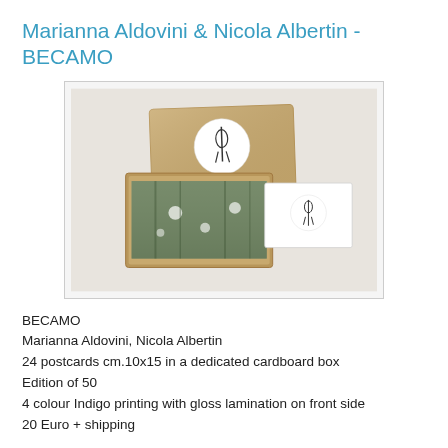Marianna Aldovini & Nicola Albertin - BECAMO
[Figure (photo): A kraft cardboard box with a white circular sticker showing a small illustration, open to reveal a stack of postcards with nature/forest imagery, alongside one postcard laid flat showing the same circular illustration on a white background, all on a light surface.]
BECAMO
Marianna Aldovini, Nicola Albertin
24 postcards cm.10x15 in a dedicated cardboard box
Edition of 50
4 colour Indigo printing with gloss lamination on front side
20 Euro + shipping